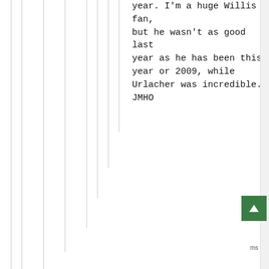year. I'm a huge Willis fan, but he wasn't as good last year as he has been this year or 2009, while Urlacher was incredible.

JMHO
[Figure (other): Vertical grey lines on left portion of page, decorative or structural UI element]
[Figure (other): Green scroll-to-top button with upward arrow chevron icon, positioned bottom-right]